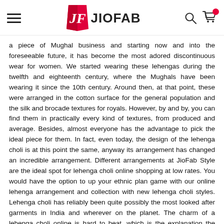JIOFAB
a piece of Mughal business and starting now and into the foreseeable future, it has become the most adored discontinuous wear for women. We started wearing these lehengas during the twelfth and eighteenth century, where the Mughals have been wearing it since the 10th century. Around then, at that point, these were arranged in the cotton surface for the general population and the silk and brocade textures for royals. However, by and by, you can find them in practically every kind of textures, from produced and average. Besides, almost everyone has the advantage to pick the ideal piece for them. In fact, even today, the design of the lehenga choli is at this point the same, anyway its arrangement has changed an incredible arrangement. Different arrangements at JioFab Style are the ideal spot for lehenga choli online shopping at low rates. You would have the option to up your ethnic plan game with our online lehenga arrangement and collection with new lehenga choli styles. Lehenga choli has reliably been quite possibly the most looked after garments in India and wherever on the planet. The charm of a lehenga choli online is hard to beat, which is the explanation the example for ladies lehengas choli is constantly extending. For best lehenga choli online shopping, examine through our wide and curated extent of lehenga chunnis, ghagra cholis, to say the least. Ideal for occasions, these ladies lehenga